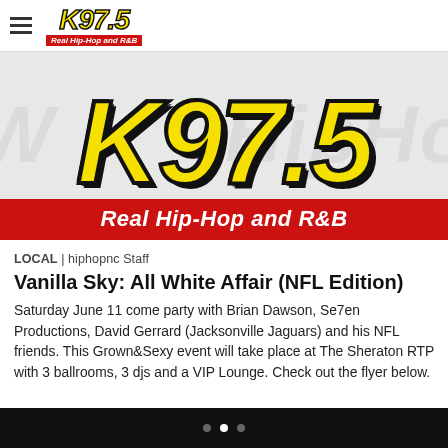K97.5 Real Hip-Hop and R&B — navigation header
[Figure (logo): K97.5 large logo with yellow bold italic text on grey background and red tagline bar reading 'Real Hip-Hop and R&B']
LOCAL | hiphopnc Staff
Vanilla Sky: All White Affair (NFL Edition)
Saturday June 11 come party with Brian Dawson, Se7en Productions, David Gerrard (Jacksonville Jaguars) and his NFL friends. This Grown&Sexy event will take place at The Sheraton RTP with 3 ballrooms, 3 djs and a VIP Lounge. Check out the flyer below.